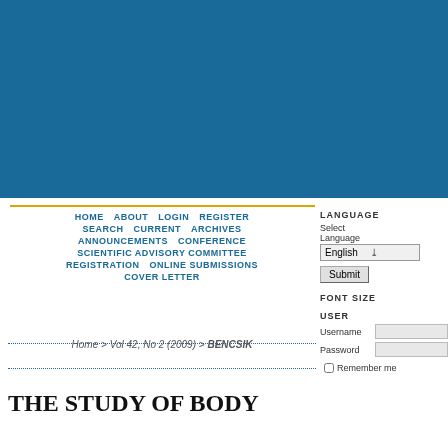[Figure (other): Blue header banner background for journal website]
HOME   ABOUT   LOGIN   REGISTER   SEARCH   CURRENT   ARCHIVES   ANNOUNCEMENTS   CONFERENCE   SCIENTIFIC ADVISORY COMMITTEE   REGISTRATION   ONLINE SUBMISSIONS   COVER LETTER
Home > Vol 42, No 2 (2009) > BENCSIK
LANGUAGE
Select Language
English
Submit
FONT SIZE
USER
Username
Password
Remember me
THE STUDY OF BODY